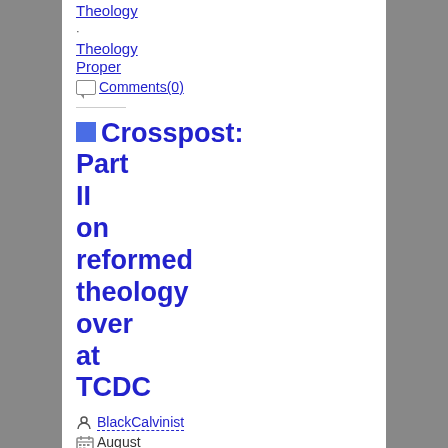Theology
Theology Proper
Comments(0)
Crosspost: Part II on reformed theology over at TCDC
BlackCavinist
August 3rd, 2012